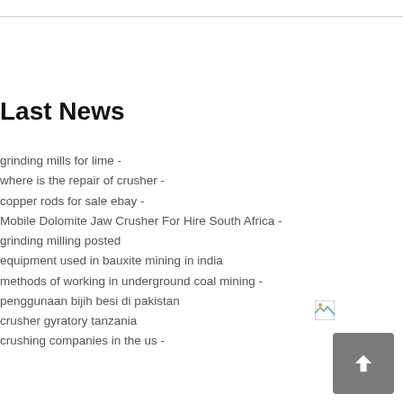Last News
grinding mills for lime -
where is the repair of crusher -
copper rods for sale ebay -
Mobile Dolomite Jaw Crusher For Hire South Africa -
grinding milling posted
equipment used in bauxite mining in india
methods of working in underground coal mining -
penggunaan bijih besi di pakistan
crusher gyratory tanzania
crushing companies in the us -